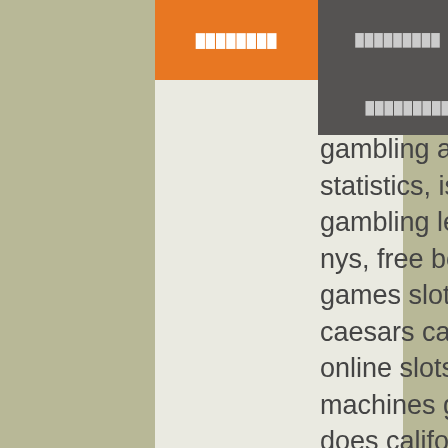████████  █████████  █████  ██████████
██████████
slot machines, online gambling australia statistics, is online gambling legal in nys, free bonus games slots online, caesars casino - free online slots machines games, does california have slot machines, sporting bet app apk, and don't forget this top sporting bets details on top of slot machines that you win real money, online gambling help